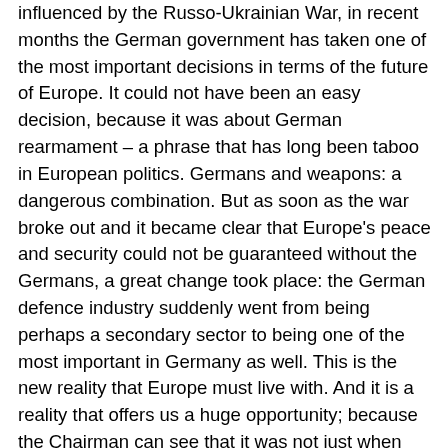influenced by the Russo-Ukrainian War, in recent months the German government has taken one of the most important decisions in terms of the future of Europe. It could not have been an easy decision, because it was about German rearmament – a phrase that has long been taboo in European politics. Germans and weapons: a dangerous combination. But as soon as the war broke out and it became clear that Europe's peace and security could not be guaranteed without the Germans, a great change took place: the German defence industry suddenly went from being perhaps a secondary sector to being one of the most important in Germany as well. This is the new reality that Europe must live with. And it is a reality that offers us a huge opportunity; because the Chairman can see that it was not just when things suddenly started to go well that we knocked on the door. When we entered into a cooperation agreement it was not when Rheinmetall's star was suddenly in the ascendant and when everyone wanted to be friends with what is now a major player in the defence industry. Our cooperation started at a time when this industry was still just grudgingly accepted; we did not agree on cooperation with each other in the finest sunny weather, but in the rain and the wind. This means that the picture we have on the